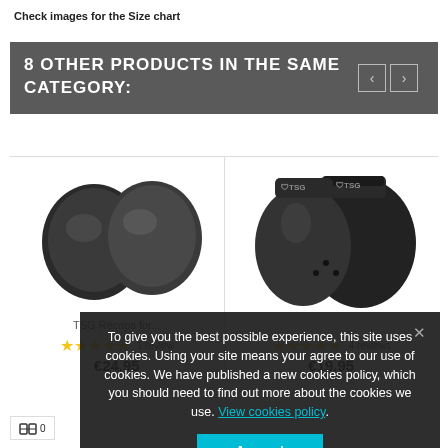Check images for the Size chart
8 OTHER PRODUCTS IN THE SAME CATEGORY:
[Figure (photo): Two black knee/elbow pad caps (TSG Recaps) on white background]
[Figure (photo): Two black TSG branded knee pads on white background]
TSG Recaps for...
★★★★★  1 review
€24.95
4 reviews
€19.95
To give you the best possible experience, this site uses cookies. Using your site means your agree to our use of cookies. We have published a new cookies policy, which you should need to find out more about the cookies we use. View cookies policy.
Accept